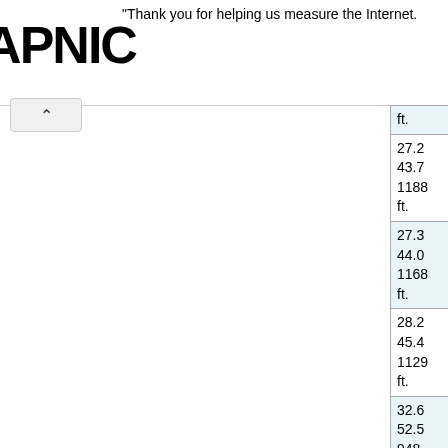[Figure (logo): APNIC logo in large bold black text]
Thank you for helping us measure the Internet.
| Miles/Km/Elev | Name/Description |
| --- | --- |
| ft. |  |
| 27.2
43.7
1188
ft. | Access to ca |
| 27.3
44.0
1168
ft. | Slate Creek |
| 28.2
45.4
1129
ft. | Access to ca |
| 32.6
52.5
948
ft. | Truck weigh |
| 33.0
53.1
958
ft. | Community |